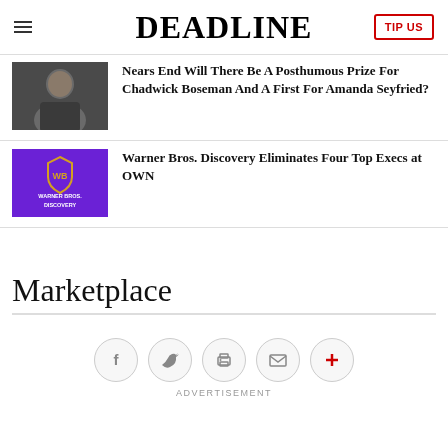DEADLINE
Nears End Will There Be A Posthumous Prize For Chadwick Boseman And A First For Amanda Seyfried?
Warner Bros. Discovery Eliminates Four Top Execs at OWN
Marketplace
[Figure (infographic): Social sharing icons: Facebook, Twitter, Print, Email, More]
ADVERTISEMENT